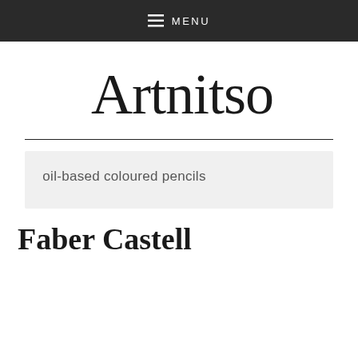≡ MENU
[Figure (logo): Artnitso&Co handwritten logo in black ink on white background]
oil-based coloured pencils
Faber Castell